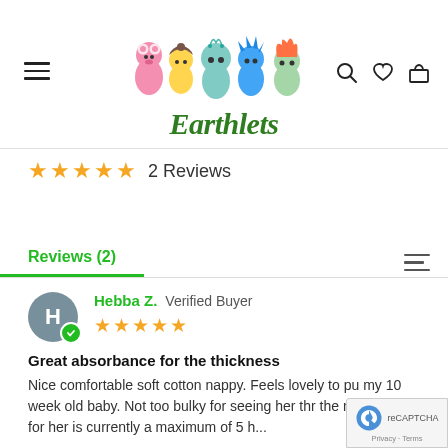[Figure (logo): Earthlets brand logo with five colorful cartoon character plush toys (pink bear, brown acorn, green alien, blue spiky, orange-haired green) above the stylized green italic text 'Earthlets']
2 Reviews
Reviews (2)
Hebba Z. Verified Buyer
Great absorbance for the thickness
Nice comfortable soft cotton nappy. Feels lovely to pu my 10 week old baby. Not too bulky for seeing her thr the night. Which for her is currently a maximum of 5 h...